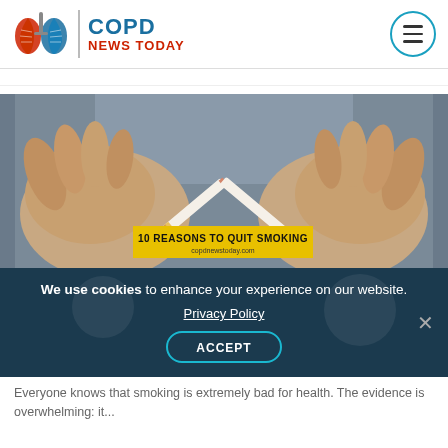COPD NEWS TODAY
[Figure (photo): Close-up of two hands snapping/breaking a cigarette in half against a gray shirt background, with overlay text '10 REASONS TO QUIT SMOKING' and 'copdnewstoday.com']
We use cookies to enhance your experience on our website. Privacy Policy ACCEPT
Everyone knows that smoking is extremely bad for health. The evidence is overwhelming: it...